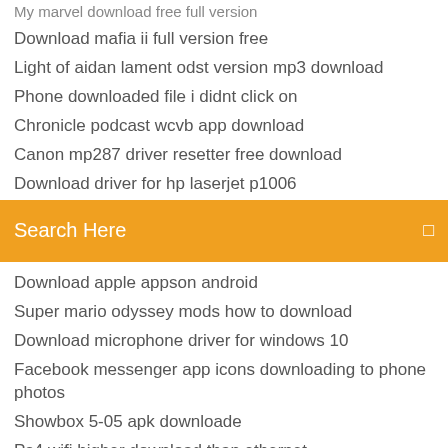My marvel download free full version
Download mafia ii full version free
Light of aidan lament odst version mp3 download
Phone downloaded file i didnt click on
Chronicle podcast wcvb app download
Canon mp287 driver resetter free download
Download driver for hp laserjet p1006
Search Here
Download apple appson android
Super mario odyssey mods how to download
Download microphone driver for windows 10
Facebook messenger app icons downloading to phone photos
Showbox 5-05 apk downloade
Ps4 wifi higher download than ethernet
Light of aidan lament odst version mp3 download
Showbox 5-05 apk downloade
Download blackberry app world for bold 9700
Android broadltem after number download...